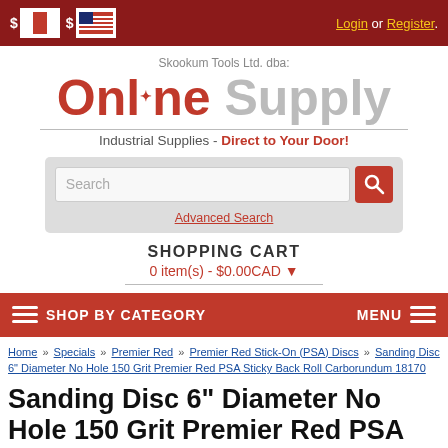$ [CAD flag] $ [US flag]   Login or Register.
[Figure (logo): Online Supply logo: 'Skookum Tools Ltd. dba:' above large red 'Online' and grey 'Supply' text with maple leaf]
Industrial Supplies - Direct to Your Door!
[Figure (screenshot): Search input box with red search button and Advanced Search link below]
SHOPPING CART
0 item(s) - $0.00CAD
SHOP BY CATEGORY   MENU
Home » Specials » Premier Red » Premier Red Stick-On (PSA) Discs » Sanding Disc 6" Diameter No Hole 150 Grit Premier Red PSA Sticky Back Roll Carborundum 18170
Sanding Disc 6" Diameter No Hole 150 Grit Premier Red PSA Sticky Back Roll